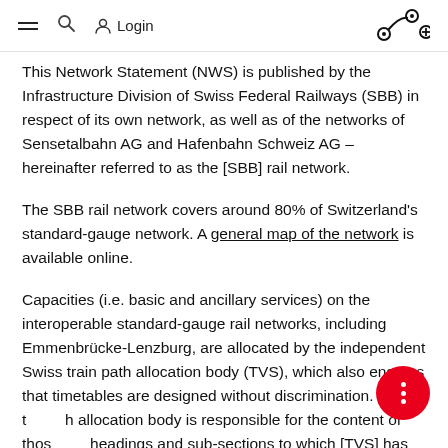≡  🔍  Login  [route icon]
This Network Statement (NWS) is published by the Infrastructure Division of Swiss Federal Railways (SBB) in respect of its own network, as well as of the networks of Sensetalbahn AG and Hafenbahn Schweiz AG – hereinafter referred to as the [SBB] rail network.
The SBB rail network covers around 80% of Switzerland's standard-gauge network. A general map of the network is available online.
Capacities (i.e. basic and ancillary services) on the interoperable standard-gauge rail networks, including Emmenbrücke-Lenzburg, are allocated by the independent Swiss train path allocation body (TVS), which also ensures that timetables are designed without discrimination. The train path allocation body is responsible for the content of those headings and sub-sections to which [TVS] has been